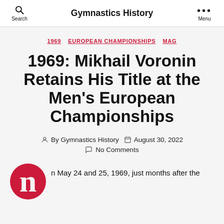Search   Gymnastics History   Menu
1969  EUROPEAN CHAMPIONSHIPS  MAG
1969: Mikhail Voronin Retains His Title at the Men's European Championships
By Gymnastics History   August 30, 2022   No Comments
n May 24 and 25, 1969, just months after the